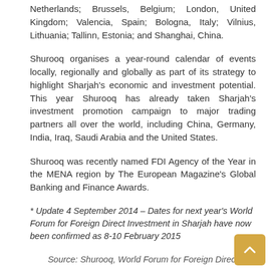Netherlands; Brussels, Belgium; London, United Kingdom; Valencia, Spain; Bologna, Italy; Vilnius, Lithuania; Tallinn, Estonia; and Shanghai, China.
Shurooq organises a year-round calendar of events locally, regionally and globally as part of its strategy to highlight Sharjah's economic and investment potential. This year Shurooq has already taken Sharjah's investment promotion campaign to major trading partners all over the world, including China, Germany, India, Iraq, Saudi Arabia and the United States.
Shurooq was recently named FDI Agency of the Year in the MENA region by The European Magazine's Global Banking and Finance Awards.
* Update 4 September 2014 – Dates for next year's World Forum for Foreign Direct Investment in Sharjah have now been confirmed as 8-10 February 2015
Source: Shurooq, World Forum for Foreign Direct Investment